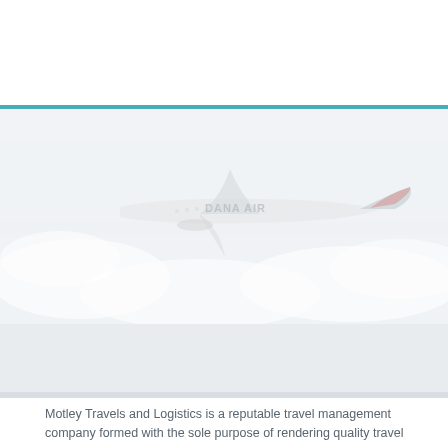[Figure (photo): Faded/washed-out photograph of a Dana Air airplane in flight above clouds, with the airline name visible on the fuselage. The image has very low contrast appearing almost white/light gray.]
Motley Travels and Logistics is a reputable travel management company formed with the sole purpose of rendering quality travel service to corporate organizations and individuals who are high